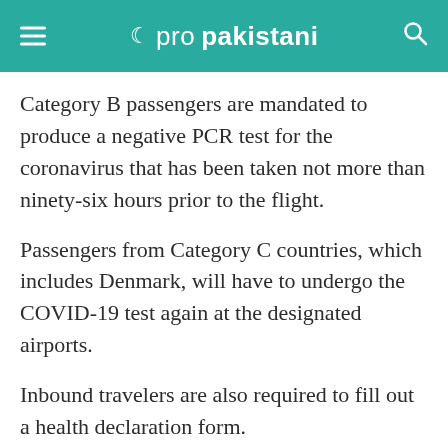propakistani
Category B passengers are mandated to produce a negative PCR test for the coronavirus that has been taken not more than ninety-six hours prior to the flight.
Passengers from Category C countries, which includes Denmark, will have to undergo the COVID-19 test again at the designated airports.
Inbound travelers are also required to fill out a health declaration form.
ALSO READ
Here's Why Pakistan Rejects Israel is